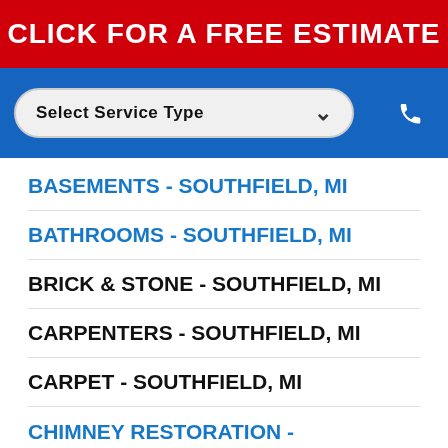CLICK FOR A FREE ESTIMATE
[Figure (screenshot): Dropdown selector labeled 'Select Service Type' with a chevron, and a phone icon on the right, on a blue background bar]
BASEMENTS - SOUTHFIELD, MI
BATHROOMS - SOUTHFIELD, MI
BRICK & STONE - SOUTHFIELD, MI
CARPENTERS - SOUTHFIELD, MI
CARPET - SOUTHFIELD, MI
CHIMNEY RESTORATION - SOUTHFIELD, MI
CLEANING - SOUTHFIELD, MI